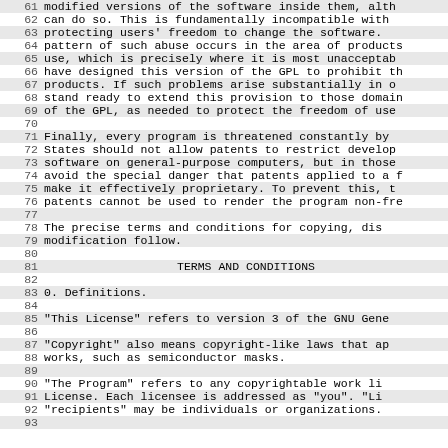61  modified versions of the software inside them, although the manufacturer
62  can do so.  This is fundamentally incompatible with the aim of
63  protecting users' freedom to change the software.
64  pattern of such abuse occurs in the area of products for individuals to
65  use, which is precisely where it is most unacceptable.  Therefore, we
66  have designed this version of the GPL to prohibit the practice for those
67  products.  If such problems arise substantially in other domains, we
68  stand ready to extend this provision to those domains in future versions
69  of the GPL, as needed to protect the freedom of users.
70
71    Finally, every program is threatened constantly by software patents.
72  States should not allow patents to restrict development or use of
73  software on general-purpose computers, but in those that do, we wish to
74  avoid the special danger that patents applied to a free program could
75  make it effectively proprietary.  To prevent this, the GPL assures that
76  patents cannot be used to render the program non-free.
77
78    The precise terms and conditions for copying, distribution and
79  modification follow.
80
TERMS AND CONDITIONS
82
83    0. Definitions.
84
85    "This License" refers to version 3 of the GNU General
86
87    "Copyright" also means copyright-like laws that apply to other kinds of
88  works, such as semiconductor masks.
89
90    "The Program" refers to any copyrightable work licensed under this
91  License.  Each licensee is addressed as "you".  "Licensees" and
92  "recipients" may be individuals or organizations.
93